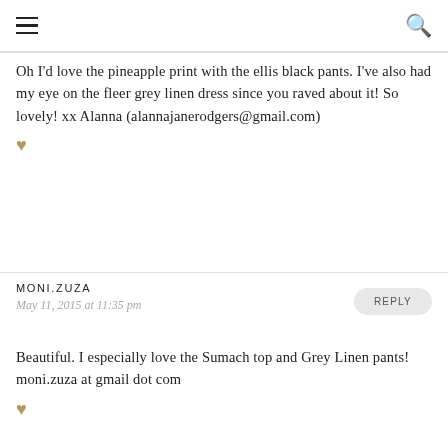[hamburger menu] [search icon]
Oh I'd love the pineapple print with the ellis black pants. I've also had my eye on the fleer grey linen dress since you raved about it! So lovely! xx Alanna (alannajanerodgers@gmail.com)
MONI.ZUZA
May 11, 2015 at 11:35 pm
Beautiful. I especially love the Sumach top and Grey Linen pants! moni.zuza at gmail dot com